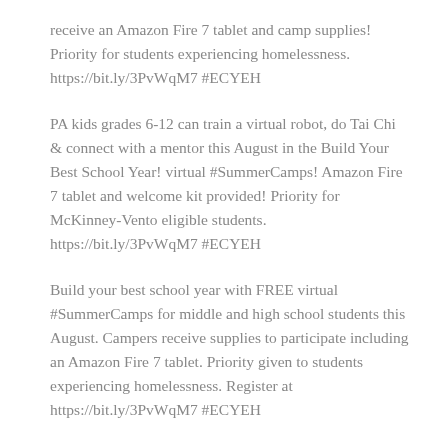receive an Amazon Fire 7 tablet and camp supplies! Priority for students experiencing homelessness. https://bit.ly/3PvWqM7 #ECYEH
PA kids grades 6-12 can train a virtual robot, do Tai Chi & connect with a mentor this August in the Build Your Best School Year! virtual #SummerCamps! Amazon Fire 7 tablet and welcome kit provided! Priority for McKinney-Vento eligible students. https://bit.ly/3PvWqM7 #ECYEH
Build your best school year with FREE virtual #SummerCamps for middle and high school students this August. Campers receive supplies to participate including an Amazon Fire 7 tablet. Priority given to students experiencing homelessness. Register at https://bit.ly/3PvWqM7 #ECYEH